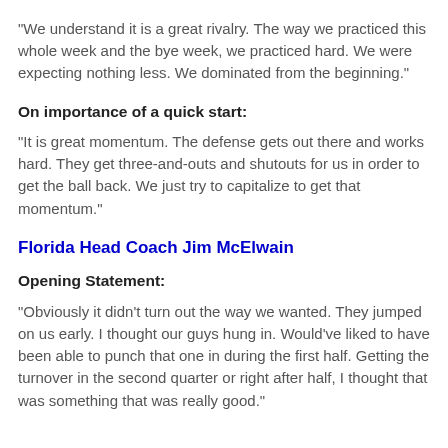“We understand it is a great rivalry. The way we practiced this whole week and the bye week, we practiced hard. We were expecting nothing less. We dominated from the beginning.”
On importance of a quick start:
“It is great momentum. The defense gets out there and works hard. They get three-and-outs and shutouts for us in order to get the ball back. We just try to capitalize to get that momentum.”
Florida Head Coach Jim McElwain
Opening Statement:
“Obviously it didn’t turn out the way we wanted. They jumped on us early. I thought our guys hung in. Would’ve liked to have been able to punch that one in during the first half. Getting the turnover in the second quarter or right after half, I thought that was something that was really good.”